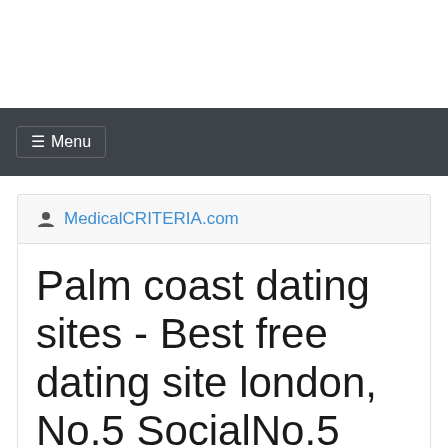☰Menu
MedicalCRITERIA.com
Palm coast dating sites - Best free dating site london, No.5 SocialNo.5 Social...